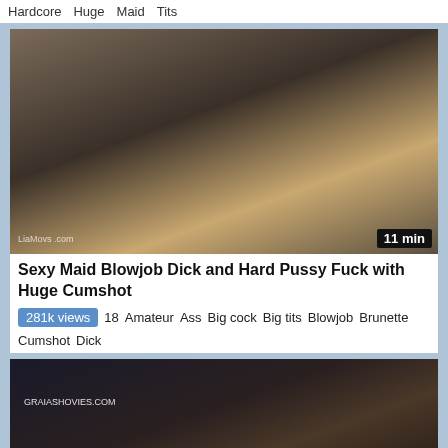Hardcore  Huge  Maid  Tits
[Figure (photo): Video thumbnail showing maid costume scene, duration badge '11 min']
Sexy Maid Blowjob Dick and Hard Pussy Fuck with Huge Cumshot
281k views  18  Amateur  Ass  Big cock  Big tits  Blowjob  Brunette  Cumshot  Dick
[Figure (photo): Video thumbnail showing two people in a room with GRAIASHOVIES.COM watermark]